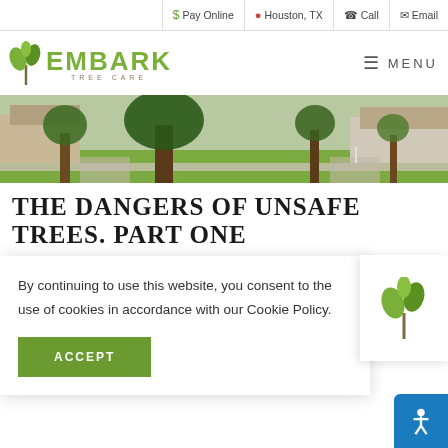$ Pay Online | Houston, TX | Call | Email
[Figure (logo): Embark Tree Care logo with green tree/leaf icon and green uppercase text EMBARK, subtext TREE CARE]
MENU
[Figure (photo): Outdoor photo of trees and grass alongside a suburban street with houses in background]
THE DANGERS OF UNSAFE TREES. PART ONE
By continuing to use this website, you consent to the use of cookies in accordance with our Cookie Policy.
ACCEPT
[Figure (logo): Small Embark Tree Care leaf/sprout logo in popup sidebar]
h / Tree